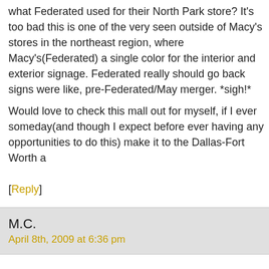what Federated used for their North Park store? It's too bad this is one of the very few times it's been seen outside of Macy's stores in the northeast region, where Macy's(Federated) originally started using a single color for the interior and exterior signage. Federated really should go back to how the Macy's signs were like, pre-Federated/May merger. *sigh!*
Would love to check this mall out for myself, if I ever someday(and though I expect to retire before ever having any opportunities to do this) make it to the Dallas-Fort Worth a
[Reply]
M.C.
April 8th, 2009 at 6:36 pm
@ towski: Yes, cheesy. Or maybe just not my thing, but I'd much prefer the work man holding a raised hammer would imply the intention to swing it, in my mind. I display to show me what a man swinging a hammer looks like.
[Reply]
Lemastre
May 10th, 2009 at 10:23 am
NorthPark's expansion strikes me as a rebirth and has brought many new custo